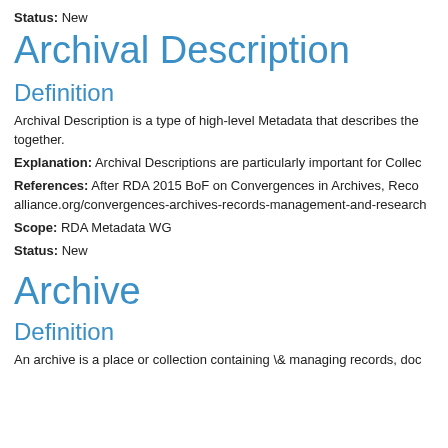Status: New
Archival Description
Definition
Archival Description is a type of high-level Metadata that describes the together.
Explanation: Archival Descriptions are particularly important for Collec
References: After RDA 2015 BoF on Convergences in Archives, Reco alliance.org/convergences-archives-records-management-and-research
Scope: RDA Metadata WG
Status: New
Archive
Definition
An archive is a place or collection containing \& managing records, doc